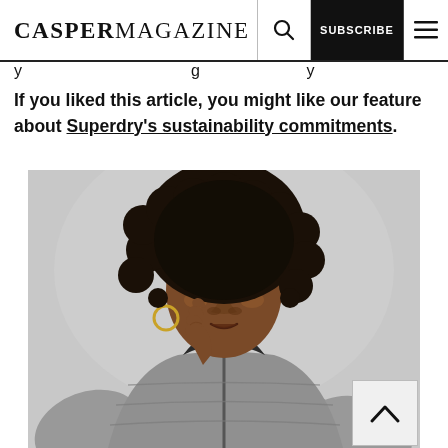CASPERMAGAZINE | SUBSCRIBE
If you liked this article, you might like our feature about Superdry's sustainability commitments.
[Figure (photo): A young Black woman with a natural afro hairstyle, wearing a grey zip-up puffer/fleece jacket, photographed against a light grey background. She is holding the collar of her jacket with one hand and wearing a gold hoop earring.]